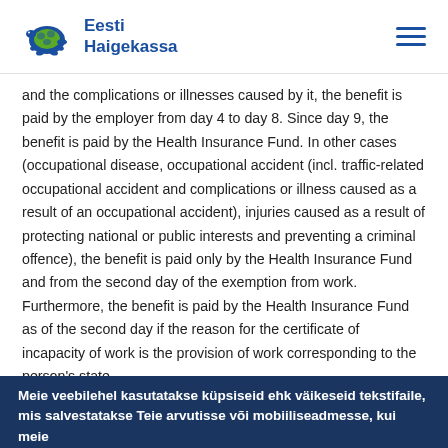Eesti Haigekassa
and the complications or illnesses caused by it, the benefit is paid by the employer from day 4 to day 8. Since day 9, the benefit is paid by the Health Insurance Fund. In other cases (occupational disease, occupational accident (incl. traffic-related occupational accident and complications or illness caused as a result of an occupational accident), injuries caused as a result of protecting national or public interests and preventing a criminal offence), the benefit is paid only by the Health Insurance Fund and from the second day of the exemption from work.
Furthermore, the benefit is paid by the Health Insurance Fund as of the second day if the reason for the certificate of incapacity of work is the provision of work corresponding to the person's state
Meie veebilehel kasutatakse küpsiseid ehk väikeseid tekstifaile, mis salvestatakse Teie arvutisse või mobiiliseadmesse, kui meie